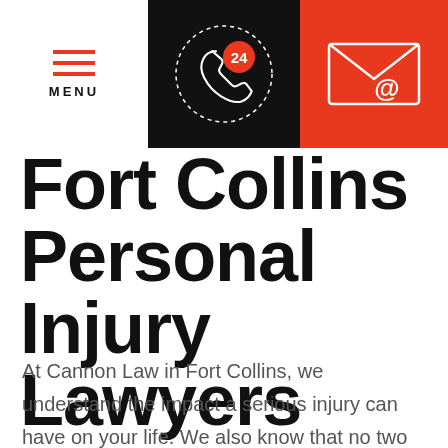[Figure (other): Navigation bar with menu hamburger icon (red lines), a black section with a 24-hour phone icon (white phone with orange '24'), and an orange section with an envelope/email icon]
Fort Collins Personal Injury Lawyers
At Cannon Law in Fort Collins, we understand the impact a serious injury can have on your life. We also know that no two cases are the same– that's why we don't have a one-size-fits-all approach to our cases. We bring a